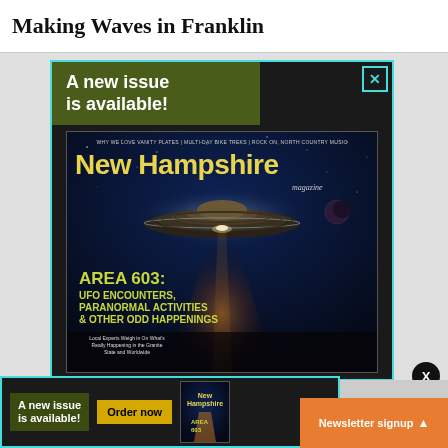Making Waves in Franklin
[Figure (screenshot): Advertisement for New Hampshire Magazine showing a new issue is available, with magazine cover featuring a UFO/flying saucer over a dark night sky with text 'AREA 603: UFO ENCOUNTERS, PARANORMAL ACTIVITIES & OTHER ODD HAPPENINGS' and subtitle 'Local Experts Weigh in On What's Really Happening in the Granite State and Worldwide']
[Figure (screenshot): Bottom sticky bar advertisement for New Hampshire Magazine with 'A new issue is available!' text, 'Order now' button, magazine thumbnail, and 'Newsletter signup' orange button]